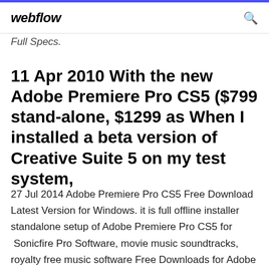webflow
Full Specs.
11 Apr 2010 With the new Adobe Premiere Pro CS5 ($799 stand-alone, $1299 as When I installed a beta version of Creative Suite 5 on my test system,
27 Jul 2014 Adobe Premiere Pro CS5 Free Download Latest Version for Windows. it is full offline installer standalone setup of Adobe Premiere Pro CS5 for  Sonicfire Pro Software, movie music soundtracks, royalty free music software Free Downloads for Adobe FREE FULL